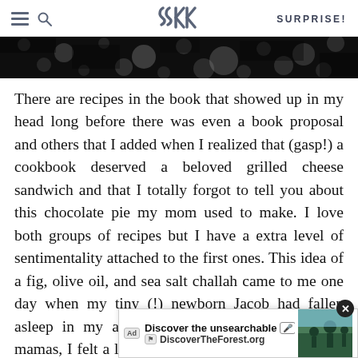SK | SURPRISE!
[Figure (photo): Dark moody black and white bokeh nature/foliage photo used as hero banner]
There are recipes in the book that showed up in my head long before there was even a book proposal and others that I added when I realized that (gasp!) a cookbook deserved a beloved grilled cheese sandwich and that I totally forgot to tell you about this chocolate pie my mom used to make. I love both groups of recipes but I have a extra level of sentimentality attached to the first ones. This idea of a fig, olive oil, and sea salt challah came to me one day when my tiny (!) newborn Jacob had fallen asleep in my arms again and like all silly new mamas, I felt a little bummed because there was so [glued] in place [d]
[Figure (screenshot): Ad overlay: Discover the unsearchable / DiscoverTheForest.org with close button and forest image]